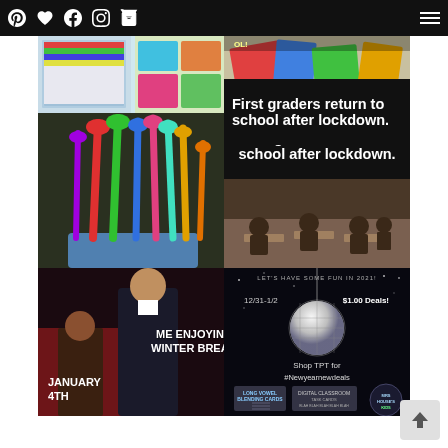Navigation bar with Pinterest, heart, Facebook, Instagram, cart icons and hamburger menu
[Figure (photo): Colorful classroom bulletin boards and supplies, top-left quadrant]
[Figure (photo): Colorful school supplies and books, top-right quadrant]
[Figure (photo): Colorful plastic hangers/scissors in a container]
[Figure (photo): First graders return to school after lockdown - text overlay on black background with photo of adults at school desks]
[Figure (photo): Meme: man in suit on red carpet with text ME ENJOYING WINTER BREAK / JANUARY 4TH]
[Figure (infographic): Dark promo: LET'S HAVE SOME FUN IN 2021! 12/31-1/2, $1.00 Deals!, Shop TPT for #Newyearnewdeals, product thumbnails for Long Vowel Blending Cards and other items, Mrs House's Kids badge]